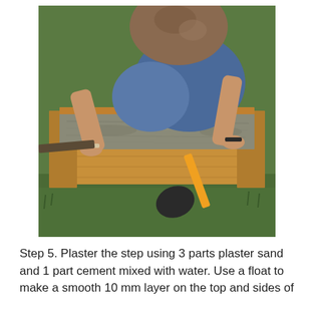[Figure (photo): A person kneeling outdoors on grass, working with wet concrete or plaster mix inside a wooden mold/form box. The person is using a trowel and a rubber mallet to smooth the surface. They are wearing jeans and a patterned top, with bracelets on both wrists.]
Step 5. Plaster the step using 3 parts plaster sand and 1 part cement mixed with water. Use a float to make a smooth 10 mm layer on the top and sides of